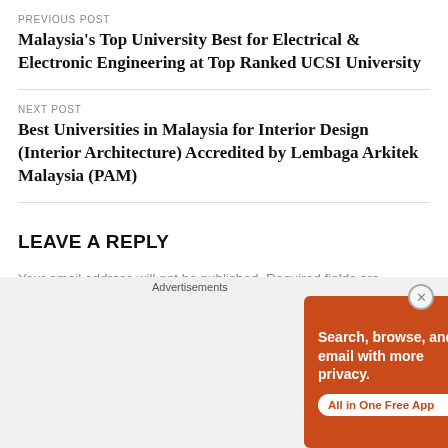PREVIOUS POST
Malaysia's Top University Best for Electrical & Electronic Engineering at Top Ranked UCSI University
NEXT POST
Best Universities in Malaysia for Interior Design (Interior Architecture) Accredited by Lembaga Arkitek Malaysia (PAM)
LEAVE A REPLY
Your email address will not be published. Required fields are
[Figure (screenshot): DuckDuckGo advertisement banner with orange background, showing text 'Search, browse, and email with more privacy. All in One Free App' with DuckDuckGo logo and phone image]